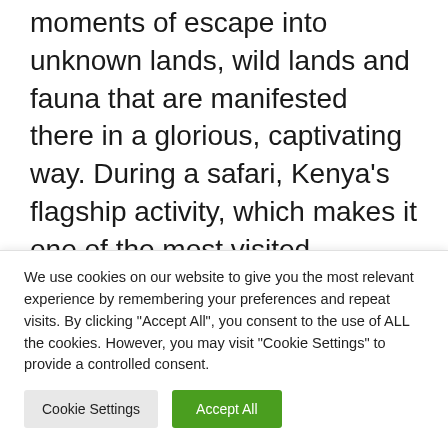moments of escape into unknown lands, wild lands and fauna that are manifested there in a glorious, captivating way. During a safari, Kenya's flagship activity, which makes it one of the most visited … Read more
safari
Destination, European travel, Stay, The [partial]
We use cookies on our website to give you the most relevant experience by remembering your preferences and repeat visits. By clicking "Accept All", you consent to the use of ALL the cookies. However, you may visit "Cookie Settings" to provide a controlled consent.